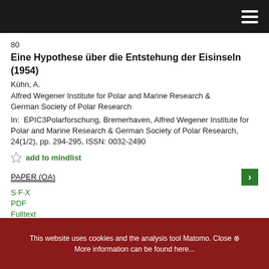80
Eine Hypothese über die Entstehung der Eisinseln (1954)
Kühn, A.
Alfred Wegener Institute for Polar and Marine Research & German Society of Polar Research
In:  EPIC3Polarforschung, Bremerhaven, Alfred Wegener Institute for Polar and Marine Research & German Society of Polar Research, 24(1/2), pp. 294-295, ISSN: 0032-2490
add to mindlist
PAPER (OA)
S·F·X
PDF
Fulltext
This website uses cookies and the analysis tool Matomo. Close ⊗ More information can be found here...